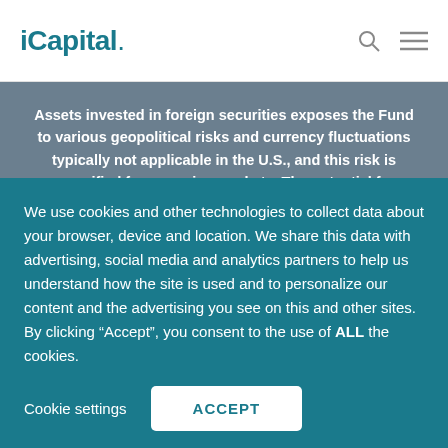iCapital.
Assets invested in foreign securities exposes the Fund to various geopolitical risks and currency fluctuations typically not applicable in the U.S., and this risk is magnified for emerging markets. The potential for adverse changes in business and tax laws involves tax risk and heightened regulatory scrutiny. The lack of a secondary market for trading private equity subjects the Fund to liquidity risks and may result in greater price risk and potential for inaccuracies in determining fair
We use cookies and other technologies to collect data about your browser, device and location. We share this data with advertising, social media and analytics partners to help us understand how the site is used and to personalize our content and the advertising you see on this and other sites. By clicking “Accept”, you consent to the use of ALL the cookies.